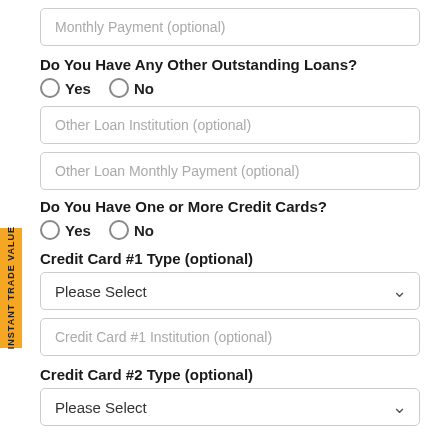Monthly Payment (optional)
Do You Have Any Other Outstanding Loans?
Yes  No
Other Loan Institution (optional)
Other Loan Monthly Payment (optional)
Do You Have One or More Credit Cards?
Yes  No
Credit Card #1 Type (optional)
Please Select
Credit Card #1 Institution (optional)
Credit Card #2 Type (optional)
Please Select